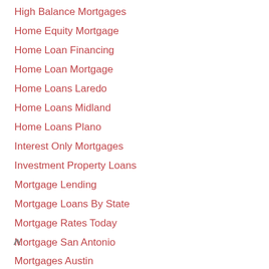High Balance Mortgages
Home Equity Mortgage
Home Loan Financing
Home Loan Mortgage
Home Loans Laredo
Home Loans Midland
Home Loans Plano
Interest Only Mortgages
Investment Property Loans
Mortgage Lending
Mortgage Loans By State
Mortgage Rates Today
Mortgage San Antonio
Mortgages Austin